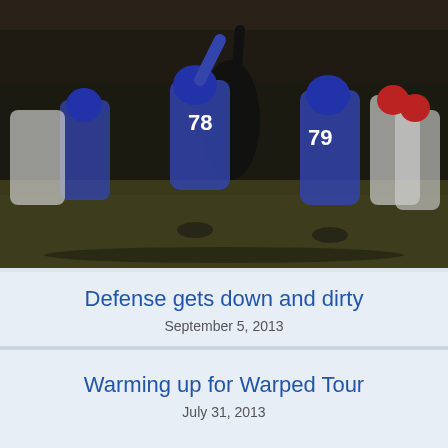[Figure (photo): Night football game photo showing players in blue uniforms (numbers 78 and 79) and white uniforms in action during a play, with stadium bleachers in background]
Defense gets down and dirty
September 5, 2013
Warming up for Warped Tour
July 31, 2013